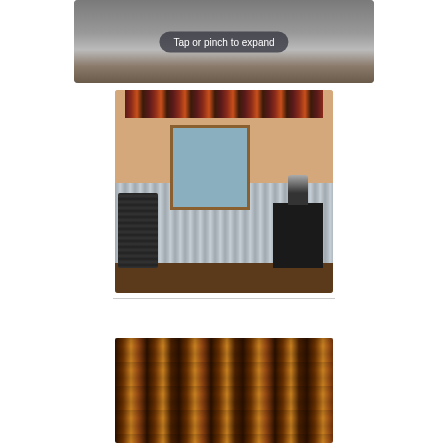[Figure (photo): Partially visible photo of a rustic room with corrugated metal walls and wooden chairs, with a 'Tap or pinch to expand' overlay UI element]
[Figure (photo): Room styled with plaid curtain valance above a wood-framed window, corrugated metal wainscoting, wooden chair on left, dark cabinet and lamp on right, warm beige walls]
[Figure (photo): Close-up of a plaid curtain valance in dark red, brown, and tan/gold colors with gathered/pleated fabric]